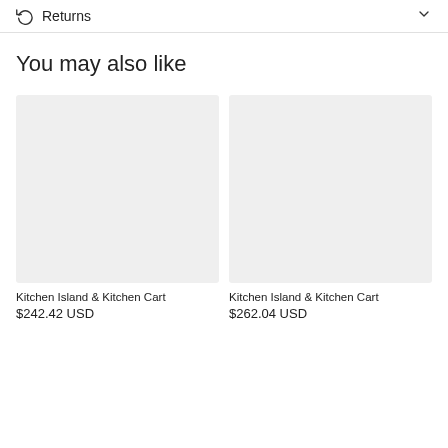Returns
You may also like
[Figure (photo): Empty product image placeholder for Kitchen Island & Kitchen Cart item 1]
Kitchen Island & Kitchen Cart
$242.42 USD
[Figure (photo): Empty product image placeholder for Kitchen Island & Kitchen Cart item 2]
Kitchen Island & Kitchen Cart
$262.04 USD